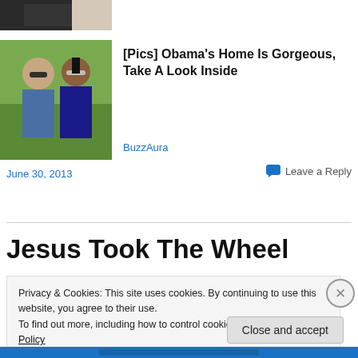[Figure (photo): Partial view of a person in formal wear, cropped at top of page]
[Figure (photo): Photo of two people (a man with sunglasses and a woman with sunglasses) in an outdoor setting]
[Pics] Obama's Home Is Gorgeous, Take A Look Inside
BuzzAura
June 30, 2013
Leave a Reply
Jesus Took The Wheel
Privacy & Cookies: This site uses cookies. By continuing to use this website, you agree to their use.
To find out more, including how to control cookies, see here: Cookie Policy
Close and accept